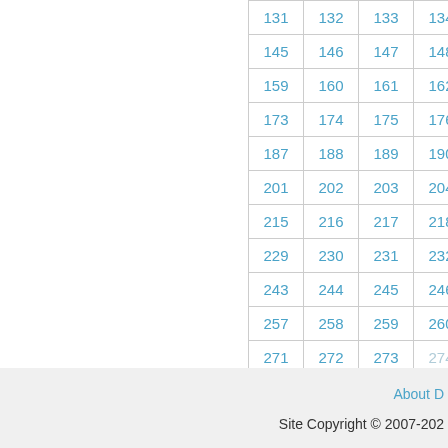| 131 | 132 | 133 | 134 | … |
| 145 | 146 | 147 | 148 | … |
| 159 | 160 | 161 | 162 | … |
| 173 | 174 | 175 | 176 | … |
| 187 | 188 | 189 | 190 | … |
| 201 | 202 | 203 | 204 | … |
| 215 | 216 | 217 | 218 | … |
| 229 | 230 | 231 | 232 | … |
| 243 | 244 | 245 | 246 | … |
| 257 | 258 | 259 | 260 | … |
| 271 | 272 | 273 | 274 | … |
About D   Site Copyright © 2007-202…